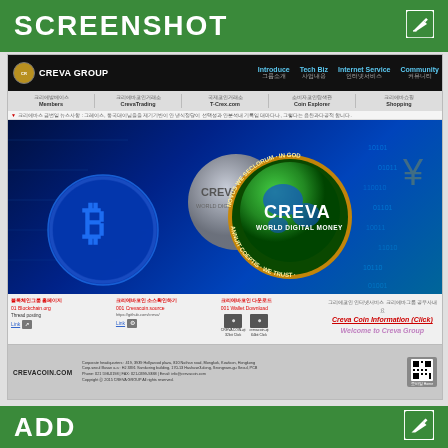SCREENSHOT
[Figure (screenshot): Screenshot of CREVA GROUP website showing navigation bar with Introduce, Tech Biz, Internet Service, Community links, a hero image featuring CREVA WORLD DIGITAL MONEY coin logo with bitcoin imagery on blue digital background, footer links for blockchain network, CrevaTrading, T-Crex.com, Coin Explorer, Shopping, and corporate footer information for CREVACOIN.COM]
ADD